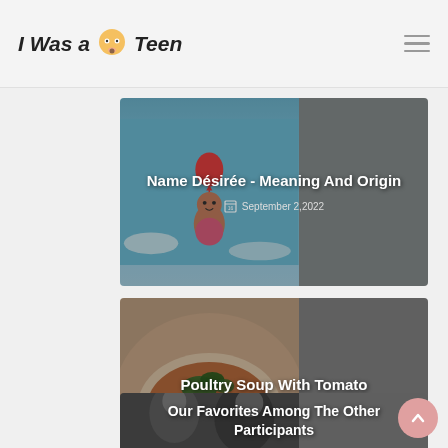I Was a Teen
[Figure (photo): Blog card with baby/character floating with balloon on teal sky background, gray right panel. Title: Name Désirée - Meaning And Origin. Date: September 2,2022]
[Figure (photo): Blog card with soup bowl image on left, gray right panel. Title: Poultry Soup With Tomato. Date: September 2,2022]
[Figure (photo): Blog card with black and white photo on left, gray right panel. Title: Our Favorites Among The Other Participants]